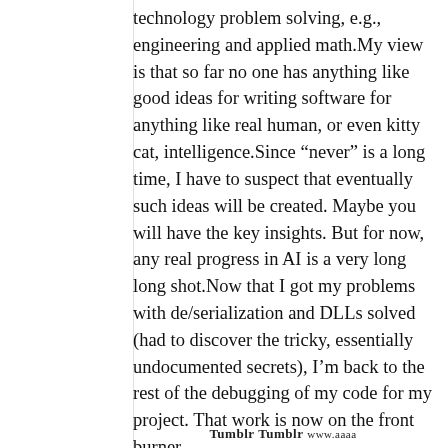technology problem solving, e.g., engineering and applied math.My view is that so far no one has anything like good ideas for writing software for anything like real human, or even kitty cat, intelligence.Since “never” is a long time, I have to suspect that eventually such ideas will be created. Maybe you will have the key insights. But for now, any real progress in AI is a very long long shot.Now that I got my problems with de/serialization and DLLs solved (had to discover the tricky, essentially undocumented secrets), I’m back to the rest of the debugging of my code for my project. That work is now on the front burner.
Tumblr Tumblr www.aaaa